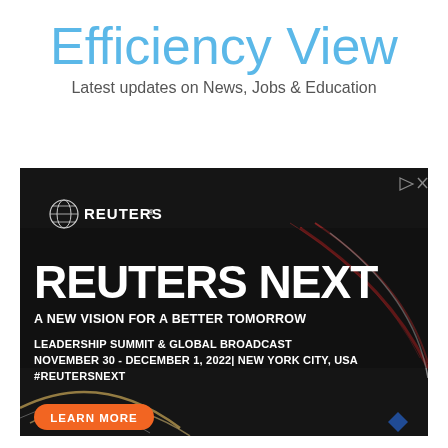Efficiency View
Latest updates on News, Jobs & Education
[Figure (photo): Reuters Next advertisement banner on dark background with light streaks. Shows Reuters logo, 'REUTERS NEXT' headline, 'A NEW VISION FOR A BETTER TOMORROW', 'LEADERSHIP SUMMIT & GLOBAL BROADCAST NOVEMBER 30 - DECEMBER 1, 2022| NEW YORK CITY, USA #REUTERSNEXT', and an orange LEARN MORE button.]